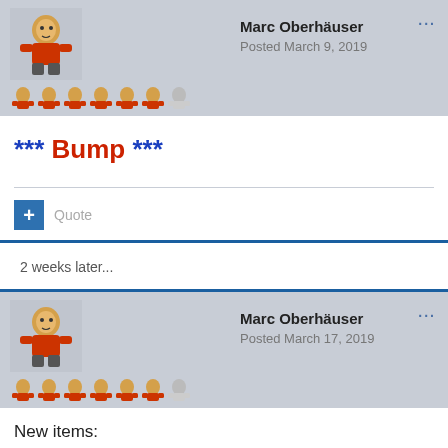Marc Oberhäuser
Posted March 9, 2019
*** Bump ***
Quote
2 weeks later...
Marc Oberhäuser
Posted March 17, 2019
New items: